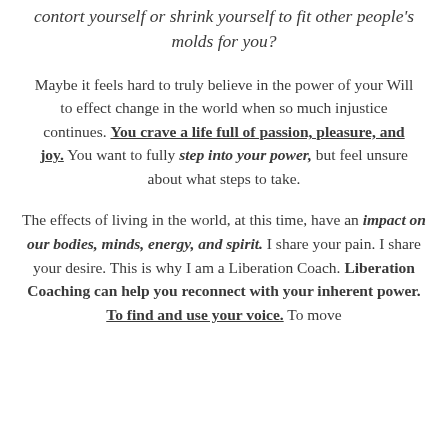contort yourself or shrink yourself to fit other people's molds for you?
Maybe it feels hard to truly believe in the power of your Will to effect change in the world when so much injustice continues. You crave a life full of passion, pleasure, and joy. You want to fully step into your power, but feel unsure about what steps to take.
The effects of living in the world, at this time, have an impact on our bodies, minds, energy, and spirit. I share your pain. I share your desire. This is why I am a Liberation Coach. Liberation Coaching can help you reconnect with your inherent power. To find and use your voice. To move